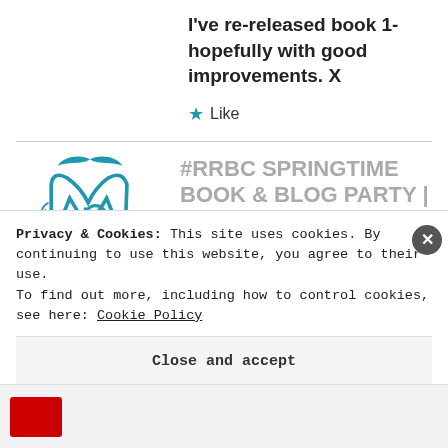I've re-released book 1- hopefully with good improvements. X
★ Like
[Figure (logo): Decorative cursive 'Mp' logo in blue with bird and text 'I AM....']
#RRBC SPRINGTIME BOOK & BLOG PARTY | Grandma Midnight Book Reviews - Sassy and Outspoken
Privacy & Cookies: This site uses cookies. By continuing to use this website, you agree to their use. To find out more, including how to control cookies, see here: Cookie Policy
Close and accept